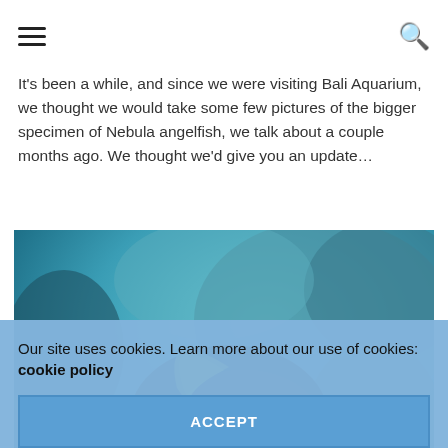[hamburger menu icon] [search icon]
It's been a while, and since we were visiting Bali Aquarium, we thought we would take some few pictures of the bigger specimen of Nebula angelfish, we talk about a couple months ago. We thought we'd give you an update…
[Figure (photo): Close-up underwater photo of a Nebula angelfish with dark body, yellow/green fins, and blue markings, swimming near a rocky reef wall with blue/green hues.]
Our site uses cookies. Learn more about our use of cookies: cookie policy
ACCEPT